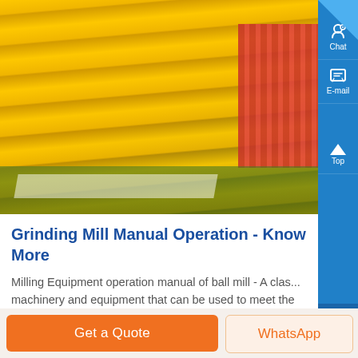[Figure (photo): Yellow corrugated metal grinding/milling machinery parts stacked outdoors on grass, with red components visible on the right side]
Grinding Mill Manual Operation - Know More
Milling Equipment operation manual of ball mill - A class machinery and equipment that can be used to meet the production requirements of coarse grinding fine grinding and super fine grinding in the field of industrial grinding finished product can be ,...